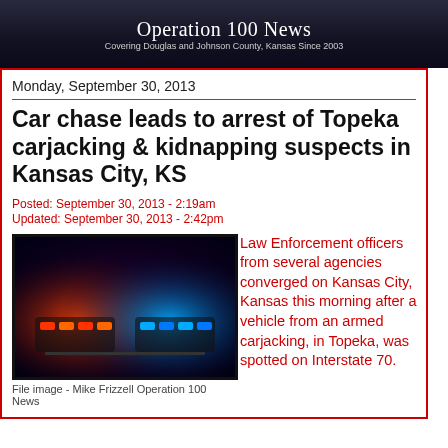Operation 100 News
Covering Douglas and Johnson County, Kansas Since 2003
Monday, September 30, 2013
Car chase leads to arrest of Topeka carjacking & kidnapping suspects in Kansas City, KS
Posted: September 30, 2013 - 2:19am
Updated: September 30, 2013 - 2:42pm
[Figure (photo): Police emergency lights (red, orange, blue) illuminated at night - file image]
File image - Mike Frizzell Operation 100 News
Law Enforcement officers from several agencies converged on Kansas City, Kansas this morning after a vehicle from an armed carjacking, in Topeka, was spotted on Interstate 70.